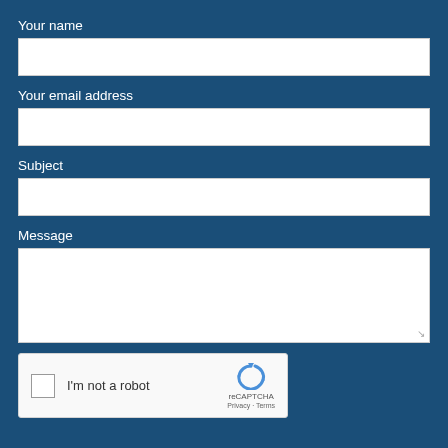Your name
[Figure (other): Text input field for name]
Your email address
[Figure (other): Text input field for email address]
Subject
[Figure (other): Text input field for subject]
Message
[Figure (other): Textarea input field for message]
[Figure (other): reCAPTCHA widget with checkbox labeled I'm not a robot, reCAPTCHA logo, Privacy and Terms links]